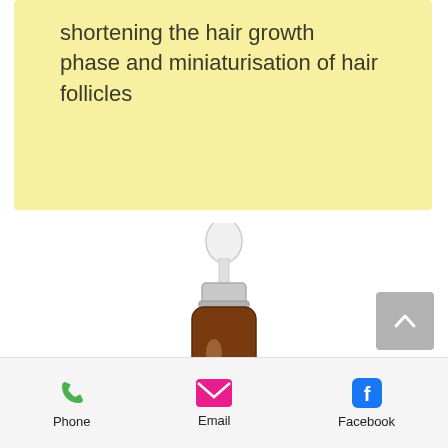shortening the hair growth phase and miniaturisation of hair follicles
[Figure (photo): Amber dropper bottle of Hair Dr. Serum with white dropper cap and silver collar, product label visible]
[Figure (other): Grey scroll-to-top button with upward chevron arrow]
Phone  Email  Facebook